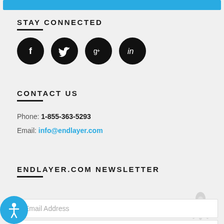[Figure (other): Cyan/blue horizontal bar at top of page]
STAY CONNECTED
[Figure (other): Four social media icons: Facebook, Twitter, Google+, LinkedIn — black circles with white logos]
CONTACT US
Phone: 1-855-363-5293
Email: info@endlayer.com
ENDLAYER.COM NEWSLETTER
Email Address (input field placeholder)
[Figure (other): Rocket icon (gray, decorative) on the right side]
[Figure (other): Accessibility icon button (blue circle with person symbol) at bottom left]